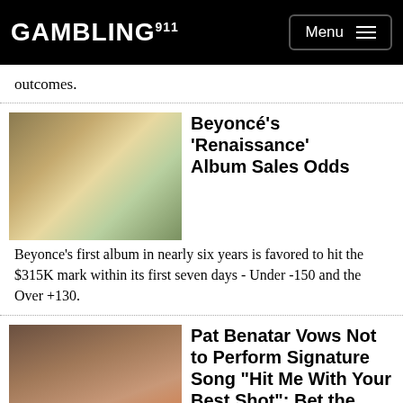GAMBLING911 Menu
outcomes.
[Figure (photo): Photo of Beyoncé]
Beyoncé's 'Renaissance' Album Sales Odds
Beyonce's first album in nearly six years is favored to hit the $315K mark within its first seven days - Under -150 and the Over +130.
[Figure (photo): Photo of Pat Benatar with vevo badge]
Pat Benatar Vows Not to Perform Signature Song "Hit Me With Your Best Shot": Bet the Next Act to Follow
"I'm not going to sing it," she said as part of an